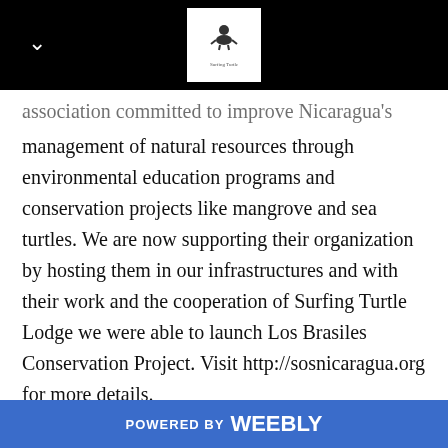Surfing Turtle Lodge navigation header with logo
association committed to improve Nicaragua's management of natural resources through environmental education programs and conservation projects like mangrove and sea turtles. We are now supporting their organization by hosting them in our infrastructures and with their work and the cooperation of Surfing Turtle Lodge we were able to launch Los Brasiles Conservation Project. Visit http://sosnicaragua.org for more details.
Developing projects requires time, expertise and money. In the long run, we wish to develop more partnerships to have an even greater impact. Please let us know if you can
POWERED BY weebly